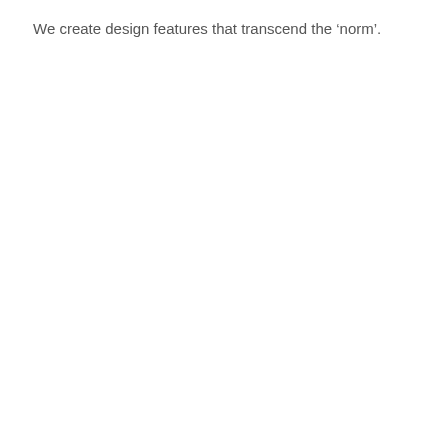We create design features that transcend the ‘norm’.